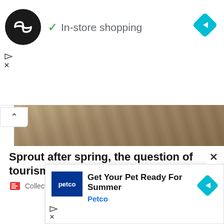[Figure (screenshot): Top advertisement banner with circular black logo showing infinity arrows icon, green checkmark with 'In-store shopping' text, cyan navigation arrow icon top right, and small play/close icons bottom left]
[Figure (photo): Horizontal strip showing sandy/rocky ground texture, partially collapsed with a caret/up arrow button on the left]
Sprout after spring, the question of tourism in Egypt
Collections
The Egyptian government is in charge of setting as soon as possible a date for the Ministry of Antiquities to begin to review and repair all the heritage and historical complexes of the country linked to the different religious groups. Th
[Figure (screenshot): Bottom advertisement overlay showing Petco logo, 'Get Your Pet Ready For Summer' headline, 'Petco' in blue, cyan navigation arrow, and small play/close icons]